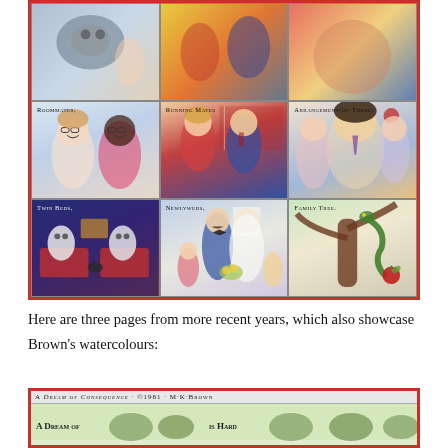[Figure (illustration): A comic page with six illustrated panels arranged in a 3x2 grid with a red border. Top row panels show: two women with glasses (Roommates), a man and woman in political context (Running Mates), a man with two women in a social arrangement (Arrangement-of-Three). Bottom row shows: two ghost-like figures in beds (Twin Beds), a wedding party (Newlyweds), and a tree with a snake and apple (Family Tree).]
Here are three pages from more recent years, which also showcase Brown's watercolours:
[Figure (illustration): Bottom of a comic strip page titled 'A DREAM OF CONSEQUENCE · ©1981 · M.K. BROWN' with subtitle 'A DREAM OF' and text 'IS HARD' visible along with illustrated figures of creatures/animals in watercolour style.]